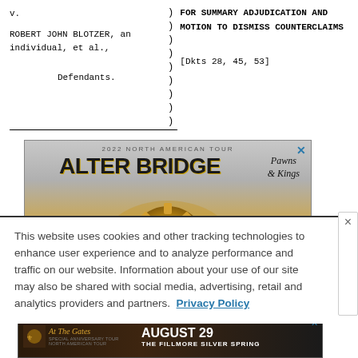v.
ROBERT JOHN BLOTZER, an individual, et al.,
Defendants.
FOR SUMMARY ADJUDICATION AND MOTION TO DISMISS COUNTERCLAIMS
[Dkts 28, 45, 53]
[Figure (photo): Advertisement banner for Alter Bridge 2022 North American Tour - Pawns & Kings, showing gold mechanical gear imagery and dark background with band logo]
This website uses cookies and other tracking technologies to enhance user experience and to analyze performance and traffic on our website. Information about your use of our site may also be shared with social media, advertising, retail and analytics providers and partners.  Privacy Policy
[Figure (photo): Advertisement banner for At The Gates concert, August 29, The Fillmore Silver Spring]